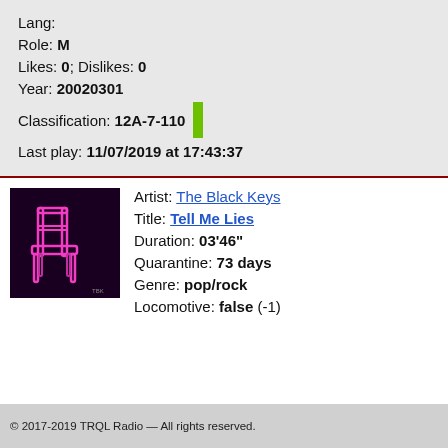Lang:
Role: M
Likes: 0; Dislikes: 0
Year: 20020301
Classification: 12A-7-110
Last play: 11/07/2019 at 17:43:37
[Figure (photo): Album art for The Black Keys - Tell Me Lies, dark purple/black background with pink neon-outlined chair graphic]
Artist: The Black Keys
Title: Tell Me Lies
Duration: 03'46"
Quarantine: 73 days
Genre: pop/rock
Locomotive: false (-1)
© 2017-2019 TRQL Radio — All rights reserved.